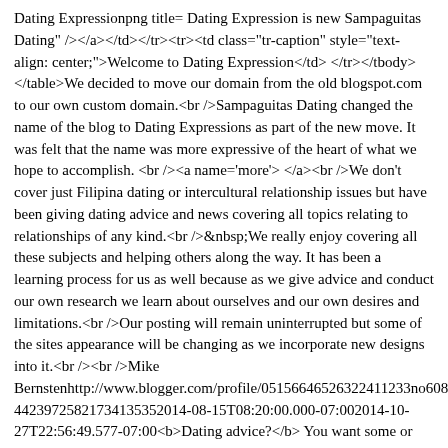Dating Expressionpng title= Dating Expression is new Sampaguitas Dating" /></a></td></tr><tr><td class="tr-caption" style="text-align: center;">Welcome to Dating Expression</td></tr></tbody></table>We decided to move our domain from the old blogspot.com to our own custom domain.<br />Sampaguitas Dating changed the name of the blog to Dating Expressions as part of the new move. It was felt that the name was more expressive of the heart of what we hope to accomplish. <br /><a name='more'></a><br />We don't cover just Filipina dating or intercultural relationship issues but have been giving dating advice and news covering all topics relating to relationships of any kind.<br />&nbsp;We really enjoy covering all these subjects and helping others along the way. It has been a learning process for us as well because as we give advice and conduct our own research we learn about ourselves and our own desires and limitations.<br />Our posting will remain uninterrupted but some of the sites appearance will be changing as we incorporate new designs into it.<br /><br />Mike Bernstenhttp://www.blogger.com/profile/05156646526322411233no60839762180211888 24.post-44239725821734135352014-08-15T08:20:00.000-07:002014-10-27T22:56:49.577-07:00<b>Dating advice?</b> You want some or not?<br /><table cellpadding="0" cellspacing="0" class="tr-caption-container" style="float: right; margin-left: 1em; text-align: right;"><tbody><tr><td style="text-align: center;"><a href="http://2.bp.blogspot.com/-ARstVqsm-Y4/U-